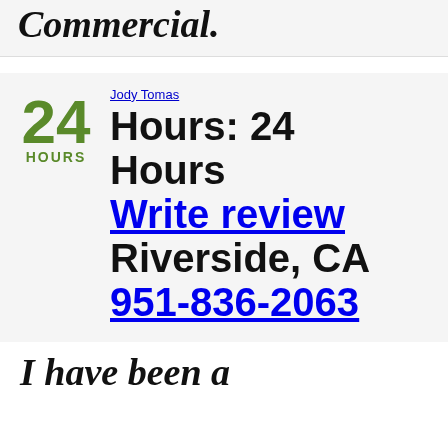Commercial.
Jody Tomas
Hours: 24 Hours
Write review
Riverside, CA
951-836-2063
I have been a